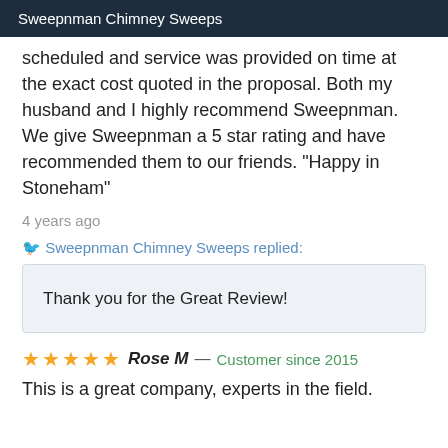Sweepnman Chimney Sweeps
scheduled and service was provided on time at the exact cost quoted in the proposal. Both my husband and I highly recommend Sweepnman. We give Sweepnman a 5 star rating and have recommended them to our friends. "Happy in Stoneham"
4 years ago
Sweepnman Chimney Sweeps replied:
Thank you for the Great Review!
Rose M — Customer since 2015
This is a great company, experts in the field.